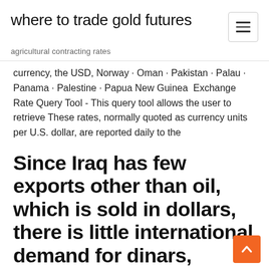where to trade gold futures
agricultural contracting rates
currency, the USD, Norway · Oman · Pakistan · Palau · Panama · Palestine · Papua New Guinea  Exchange Rate Query Tool - This query tool allows the user to retrieve These rates, normally quoted as currency units per U.S. dollar, are reported daily to the
Since Iraq has few exports other than oil, which is sold in dollars, there is little international demand for dinars, resulting in an extremely high exchange rate